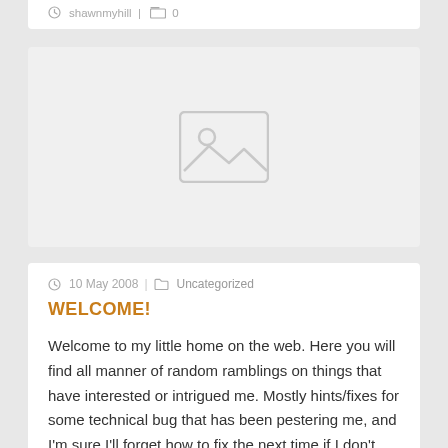shawnmyhill | 0
[Figure (illustration): Image placeholder with a landscape/photo icon in light gray on a light gray background]
10 May 2008 | Uncategorized
WELCOME!
Welcome to my little home on the web. Here you will find all manner of random ramblings on things that have interested or intrigued me. Mostly hints/fixes for some technical bug that has been pestering me, and I'm sure I'll forget how to fix the next time if I don't